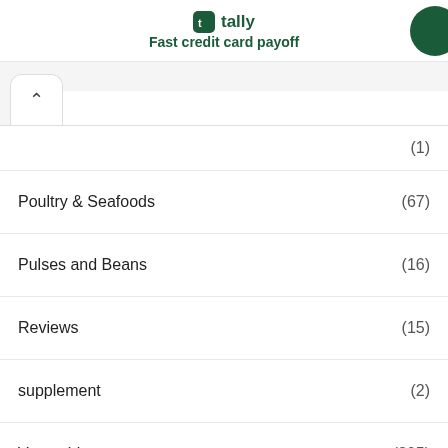tally Fast credit card payoff
(1)
Poultry & Seafoods (67)
Pulses and Beans (16)
Reviews (15)
supplement (2)
Vegetables (205)